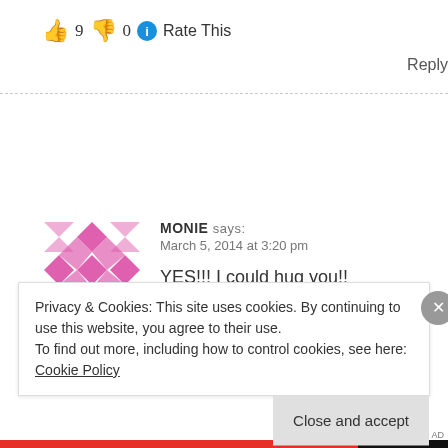👍 9 👎 0 ℹ Rate This
Reply
MONIE says: March 5, 2014 at 3:20 pm
YES!!! I could hug you!!
Privacy & Cookies: This site uses cookies. By continuing to use this website, you agree to their use. To find out more, including how to control cookies, see here: Cookie Policy
Close and accept